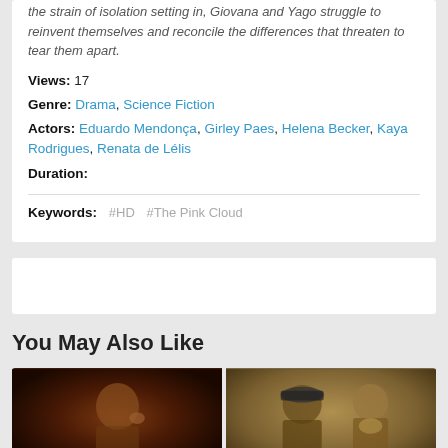the strain of isolation setting in, Giovana and Yago struggle to reinvent themselves and reconcile the differences that threaten to tear them apart.
Views: 17
Genre: Drama, Science Fiction
Actors: Eduardo Mendonça, Girley Paes, Helena Becker, Kaya Rodrigues, Renata de Lélis
Duration:
Keywords: #HD  #The Pink Cloud
[Figure (other): Advertisement/placeholder box]
You May Also Like
[Figure (photo): Movie thumbnail left: dark portrait of a man touching his ear]
[Figure (photo): Movie thumbnail right: two men, one wearing a cap with M logo]